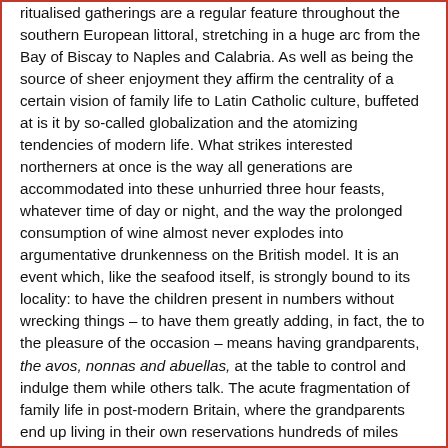ritualised gatherings are a regular feature throughout the southern European littoral, stretching in a huge arc from the Bay of Biscay to Naples and Calabria. As well as being the source of sheer enjoyment they affirm the centrality of a certain vision of family life to Latin Catholic culture, buffeted at is it by so-called globalization and the atomizing tendencies of modern life. What strikes interested northerners at once is the way all generations are accommodated into these unhurried three hour feasts, whatever time of day or night, and the way the prolonged consumption of wine almost never explodes into argumentative drunkenness on the British model. It is an event which, like the seafood itself, is strongly bound to its locality: to have the children present in numbers without wrecking things – to have them greatly adding, in fact, the to the pleasure of the occasion – means having grandparents, the avos, nonnas and abuellas, at the table to control and indulge them while others talk. The acute fragmentation of family life in post-modern Britain, where the grandparents end up living in their own reservations hundreds of miles from their children, has not – yet — destroyed the traditions of the Catholic south.